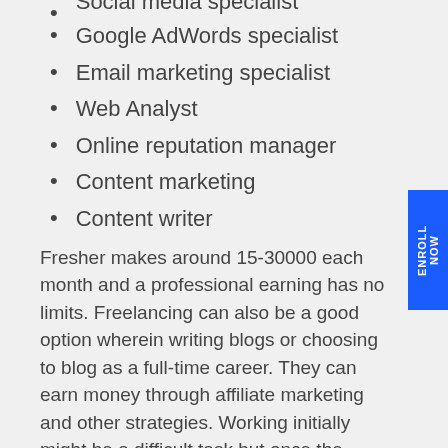Social media specialist
Google AdWords specialist
Email marketing specialist
Web Analyst
Online reputation manager
Content marketing
Content writer
Fresher makes around 15-30000 each month and a professional earning has no limits. Freelancing can also be a good option wherein writing blogs or choosing to blog as a full-time career. They can earn money through affiliate marketing and other strategies. Working initially might be a difficult task but once the number of viewers and traffic increases income will start through ad sense and affiliate marketing.
The best part about being a digital marketer is that after completing the course it is not mandatory to work for an employer because there are various other options through which money can be generated even being at home